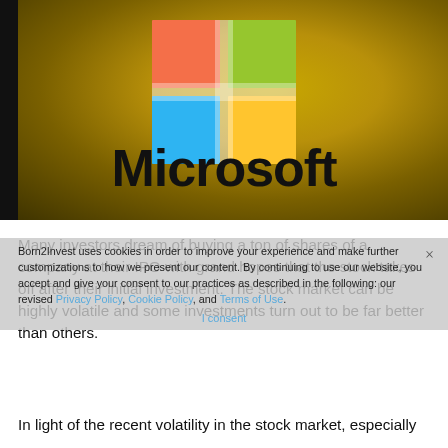[Figure (photo): Microsoft illuminated logo sign with four colored squares (orange top-left, green top-right, blue bottom-left, yellow bottom-right) on a golden/amber background, with the Microsoft wordmark below in bold black text.]
Many investors dream of buying a ton of shares of a company at their IPO with grand hopes that the stock takes off after their initial investment. The stock market can be highly volatile and some investments turn out to be far better than others.
Born2Invest uses cookies in order to improve your experience and make further customizations to how we present our content. By continuing to use our website, you accept and give your consent to our practices as described in the following: our revised Privacy Policy, Cookie Policy, and Terms of Use.
I consent
In light of the recent volatility in the stock market, especially